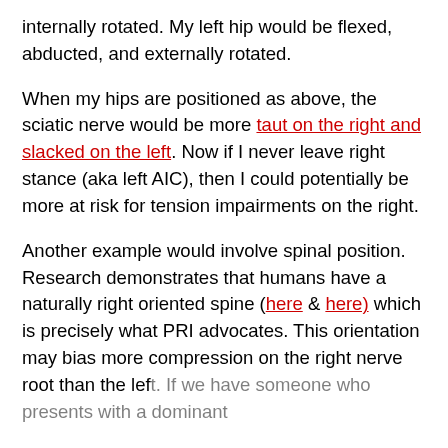internally rotated. My left hip would be flexed, abducted, and externally rotated.
When my hips are positioned as above, the sciatic nerve would be more taut on the right and slacked on the left. Now if I never leave right stance (aka left AIC), then I could potentially be more at risk for tension impairments on the right.
Another example would involve spinal position. Research demonstrates that humans have a naturally right oriented spine (here & here) which is precisely what PRI advocates. This orientation may bias more compression on the right nerve root than the left. If we have someone who presents with a dominant...